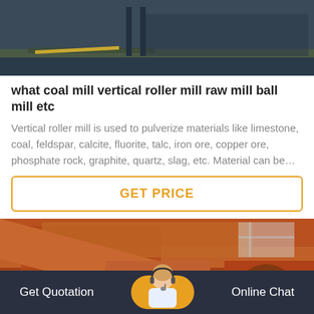[Figure (photo): Industrial machinery/factory interior with dark walls and yellow floor marking]
what coal mill vertical roller mill raw mill ball mill etc
Vertical roller mill is used to pulverize materials like limestone, coal, feldspar, calcite, fluorite, talc, iron ore, copper ore, phosphate rock, graphite, quartz, slag, etc. Material can be…
[Figure (other): GET PRICE button with orange border]
[Figure (photo): Orange industrial machinery equipment in factory setting]
Get Quotation   Online Chat